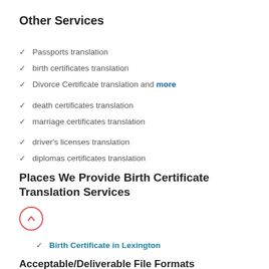Other Services
✓ Passports translation
✓ birth certificates translation
✓ Divorce Certificate translation and more
✓ death certificates translation
✓ marriage certificates translation
✓ driver's licenses translation
✓ diplomas certificates translation
Places We Provide Birth Certificate Translation Services
✓ Birth Certificate in Lexington
Acceptable/Deliverable File Formats
We accept and deliver file formats such as MP3,AIFF/AIF,CD, MP2,